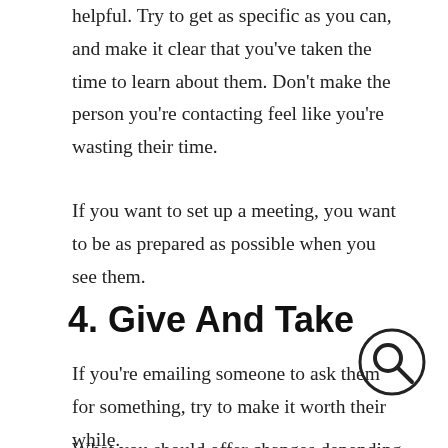helpful. Try to get as specific as you can, and make it clear that you've taken the time to learn about them. Don't make the person you're contacting feel like you're wasting their time.
If you want to set up a meeting, you want to be as prepared as possible when you see them.
4. Give And Take
If you're emailing someone to ask them for something, try to make it worth their while.
[Figure (other): Search/magnifier icon circle]
What you should offer changes depending on what you're contacting them for. Figure out what makes